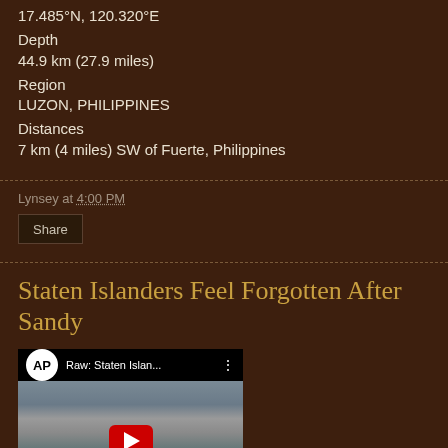17.485°N, 120.320°E
Depth
44.9 km (27.9 miles)
Region
LUZON, PHILIPPINES
Distances
7 km (4 miles) SW of Fuerte, Philippines
Lynsey at 4:00 PM
Share
Staten Islanders Feel Forgotten After Sandy
[Figure (screenshot): YouTube video thumbnail showing AP logo and title 'Raw: Staten Islan...' with a crowd of people and a red play button overlay]